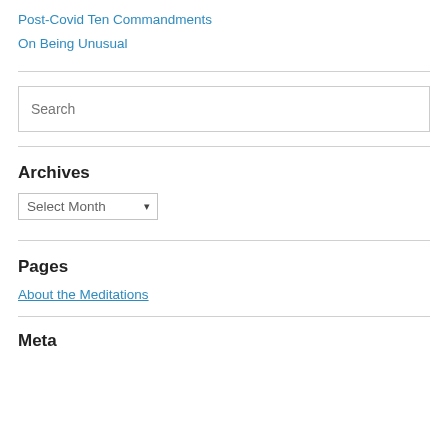Post-Covid Ten Commandments
On Being Unusual
Archives
Select Month
Pages
About the Meditations
Meta